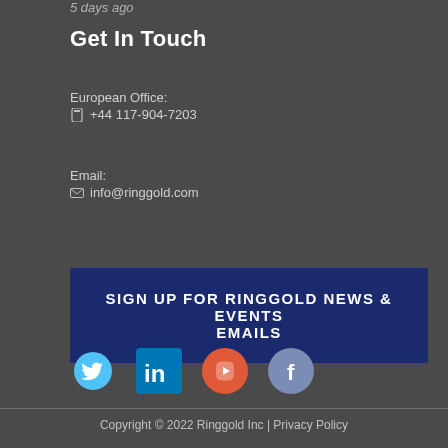5 days ago
Get In Touch
European Office:
☎ +44 117-904-7203
Email:
✉ info@ringgold.com
SIGN UP FOR RINGGOLD NEWS & EVENTS EMAILS
[Figure (illustration): Social media icons: Twitter (blue bird), LinkedIn (blue 'in' icon), YouTube (red play button), Facebook (blue 'f' icon)]
Copyright © 2022 Ringgold Inc | Privacy Policy